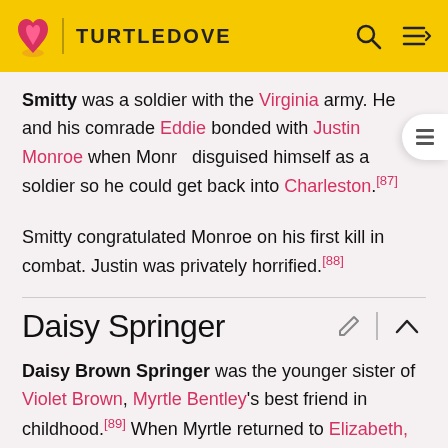TURTLEDOVE
Smitty was a soldier with the Virginia army. He and his comrade Eddie bonded with Justin Monroe when Monroe disguised himself as a soldier so he could get back into Charleston.[87]
Smitty congratulated Monroe on his first kill in combat. Justin was privately horrified.[88]
Daisy Springer
Daisy Brown Springer was the younger sister of Violet Brown, Myrtle Bentley's best friend in childhood.[89] When Myrtle returned to Elizabeth, Virginia in 2097, she ran into Daisy. The two reminisced about their childhood for some time before Myrtle thought to introduce her